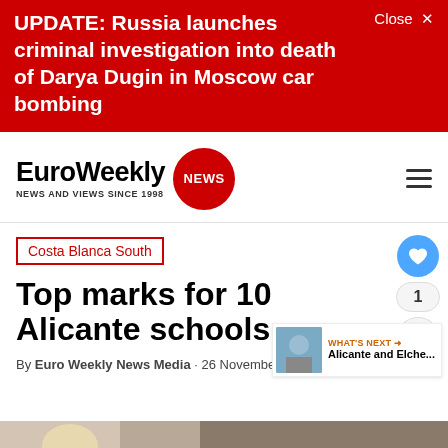UPDATE: Russia launches criminal investigation into death of Darya Dugin in Moscow car bombing
[Figure (logo): EuroWeekly NEWS logo — bold text 'EuroWeekly' with red circular 'NEWS' badge, tagline 'NEWS AND VIEWS SINCE 1998']
Costa Blanca South
Top marks for 10 Alicante schools
By Euro Weekly News Media · 26 November 2014
[Figure (photo): Partial photo of children in a classroom setting]
[Figure (screenshot): Ad banner reading SHE CAN STEM with logo mark on dark background]